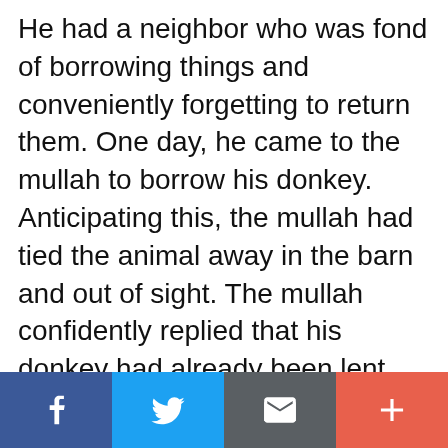He had a neighbor who was fond of borrowing things and conveniently forgetting to return them. One day, he came to the mullah to borrow his donkey. Anticipating this, the mullah had tied the animal away in the barn and out of sight. The mullah confidently replied that his donkey had already been lent out. Just as the disappointed neighbor turned to leave, the donkey brayed loudly from the barn. The neighbor turned around and remarked, “You said your donkey was already lent out.”
To which the mullah replied, “Do you believe the words of a donkey over the words of a mullah?”